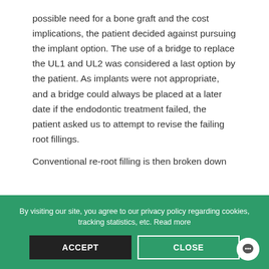possible need for a bone graft and the cost implications, the patient decided against pursuing the implant option. The use of a bridge to replace the UL1 and UL2 was considered a last option by the patient. As implants were not appropriate, and a bridge could always be placed at a later date if the endodontic treatment failed, the patient asked us to attempt to revise the failing root fillings.

Conventional re-root filling is then broken down
By visiting our site, you agree to our privacy policy regarding cookies, tracking statistics, etc. Read more